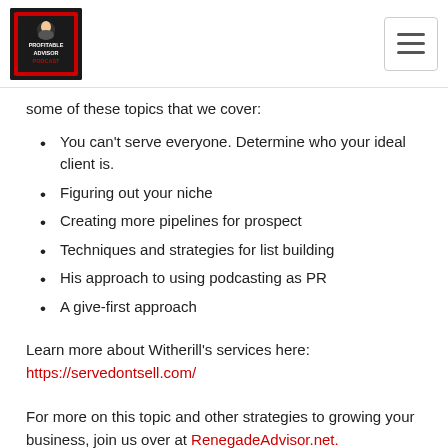The Profitable Advisor Podcast logo and navigation
some of these topics that we cover:
You can't serve everyone. Determine who your ideal client is.
Figuring out your niche
Creating more pipelines for prospect
Techniques and strategies for list building
His approach to using podcasting as PR
A give-first approach
Learn more about Witherill's services here:
https://servedontsell.com/
For more on this topic and other strategies to growing your business, join us over at RenegadeAdvisor.net.
What we discuss on this show: